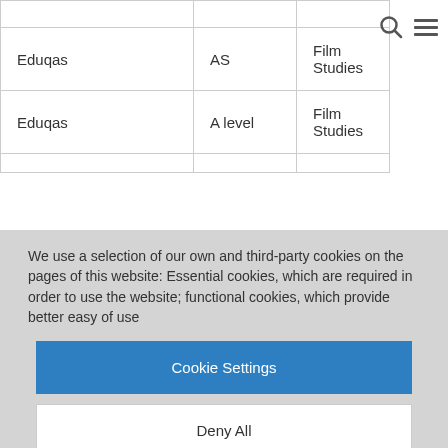| Eduqas | AS | Film Studies |
| Eduqas | A level | Film Studies |
We use a selection of our own and third-party cookies on the pages of this website: Essential cookies, which are required in order to use the website; functional cookies, which provide better easy of use
Cookie Settings
Deny All
Accept All